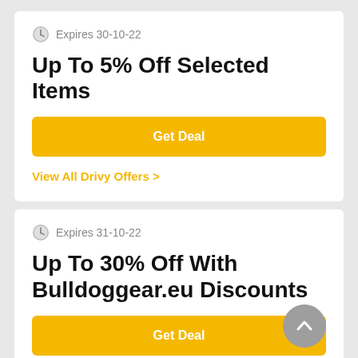Expires 30-10-22
Up To 5% Off Selected Items
Get Deal
View All Drivy Offers >
Expires 31-10-22
Up To 30% Off With Bulldoggear.eu Discounts
Get Deal
View All Bulldog Gear Offers...